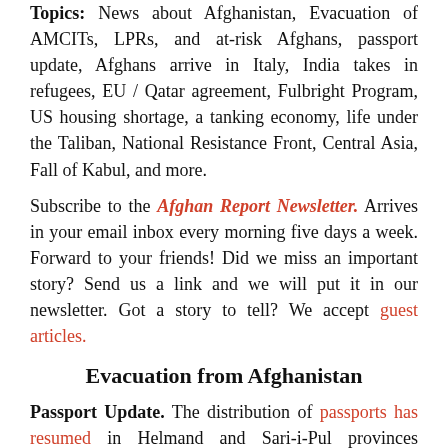Topics: News about Afghanistan, Evacuation of AMCITs, LPRs, and at-risk Afghans, passport update, Afghans arrive in Italy, India takes in refugees, EU / Qatar agreement, Fulbright Program, US housing shortage, a tanking economy, life under the Taliban, National Resistance Front, Central Asia, Fall of Kabul, and more.
Subscribe to the Afghan Report Newsletter. Arrives in your email inbox every morning five days a week. Forward to your friends! Did we miss an important story? Send us a link and we will put it in our newsletter. Got a story to tell? We accept guest articles.
Evacuation from Afghanistan
Passport Update. The distribution of passports has resumed in Helmand and Sari-i-Pul provinces according to a Taliban government spokesman. (Pajhwok, Dec 14, 2021).
Afghans Arrive in Italy. A 'humanitarian corridor' has been activated that bring Afghans to Italy. A group of 12 recently